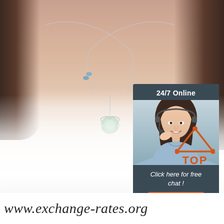[Figure (photo): Product photo of a woman wearing a silver necklace with a pearl/moonstone pendant, dressed in white ruffled fabric. In the upper right corner, a customer service chat widget shows '24/7 Online', a smiling female operator with headset, 'Click here for free chat!' text, and an orange QUOTATION button. Bottom right has a red/orange TOP arrow logo. Bottom has partial URL text.]
24/7 Online
Click here for free chat !
QUOTATION
TOP
www.exchange-rates.org